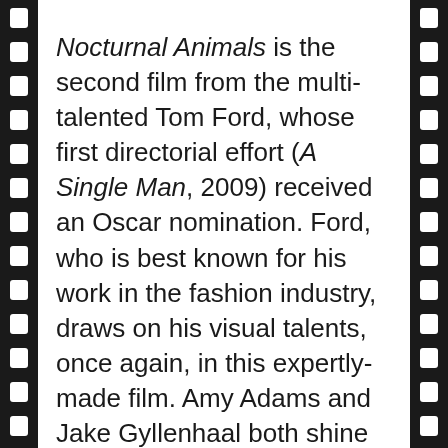Nocturnal Animals is the second film from the multi-talented Tom Ford, whose first directorial effort (A Single Man, 2009) received an Oscar nomination. Ford, who is best known for his work in the fashion industry, draws on his visual talents, once again, in this expertly-made film. Amy Adams and Jake Gyllenhaal both shine in this chilling and complex film.

The film shifts into the secondary plot, which is Edward's book. The story opens with Tony (also played by Gyllenhaal), a peaceful man who Susan (while reading) pictures as her